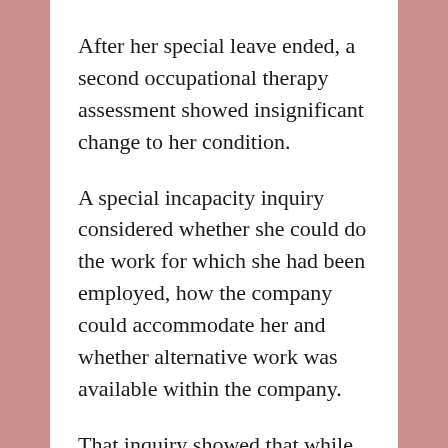After her special leave ended, a second occupational therapy assessment showed insignificant change to her condition.
A special incapacity inquiry considered whether she could do the work for which she had been employed, how the company could accommodate her and whether alternative work was available within the company.
That inquiry showed that while the company needed a filing clerk for eight hours a day, she could only work two or three hours a day, and the only suitable vacancy involving